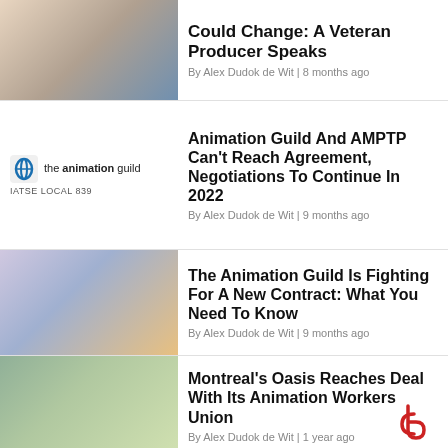[Figure (illustration): Animated characters from an animation scene - partial article thumbnail]
Could Change: A Veteran Producer Speaks
By Alex Dudok de Wit | 8 months ago
[Figure (logo): The Animation Guild IATSE Local 839 logo]
Animation Guild And AMPTP Can't Reach Agreement, Negotiations To Continue In 2022
By Alex Dudok de Wit | 9 months ago
[Figure (illustration): Animated characters group from a 3D animated film thumbnail]
The Animation Guild Is Fighting For A New Contract: What You Need To Know
By Alex Dudok de Wit | 9 months ago
[Figure (illustration): Two round cartoon characters in bowtie outfits - animation thumbnail]
Montreal's Oasis Reaches Deal With Its Animation Workers Union
By Alex Dudok de Wit | 1 year ago
[Figure (illustration): Dark toned live action or animated scene - partial thumbnail for last article]
Workers At Atlanta's Floyd County Production Th...